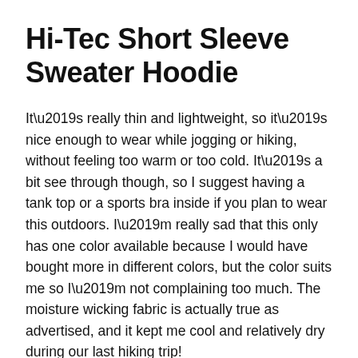Hi-Tec Short Sleeve Sweater Hoodie
It’s really thin and lightweight, so it’s nice enough to wear while jogging or hiking, without feeling too warm or too cold. It’s a bit see through though, so I suggest having a tank top or a sports bra inside if you plan to wear this outdoors. I’m really sad that this only has one color available because I would have bought more in different colors, but the color suits me so I’m not complaining too much. The moisture wicking fabric is actually true as advertised, and it kept me cool and relatively dry during our last hiking trip!
Lupine